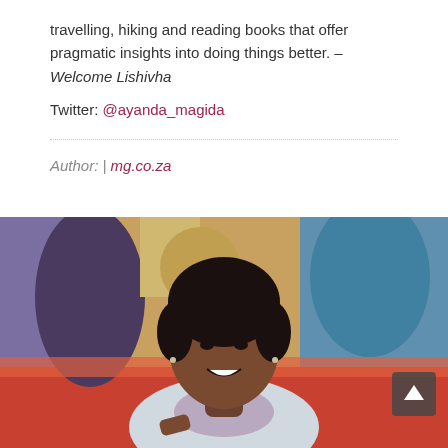travelling, hiking and reading books that offer pragmatic insights into doing things better. – Welcome Lishivha
Twitter: @ayanda_magida
Author: | mg.co.za
[Figure (photo): Portrait photo of a smiling young woman with short natural hair, wearing a light jacket and scarf, photographed in front of colorful painted artwork/mural background. A dark back-to-top button is visible in the bottom-right area of the photo.]